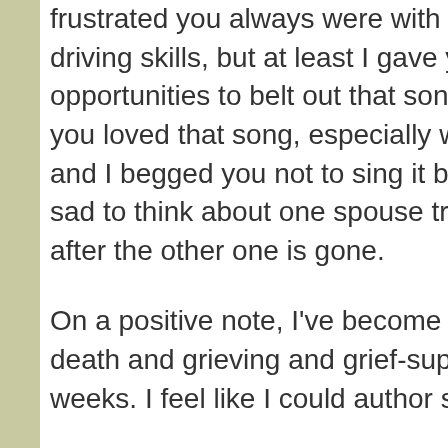frustrated you always were with my less-than-stellar driving skills, but at least I gave you a lot of opportunities to belt out that song. And you know you loved that song, especially when it made me cry and I begged you not to sing it because it made me sad to think about one spouse trying to live alone after the other one is gone.
On a positive note, I've become a bit of an expert on death and grieving and grief-support these past few weeks. I feel like I could author some kind of a